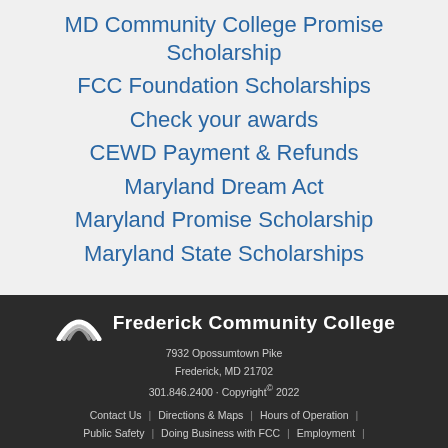MD Community College Promise Scholarship
FCC Foundation Scholarships
Check your awards
CEWD Payment & Refunds
Maryland Dream Act
Maryland Promise Scholarship
Maryland State Scholarships
Frederick Community College · 7932 Opossumtown Pike · Frederick, MD 21702 · 301.846.2400 · Copyright © 2022 · Contact Us | Directions & Maps | Hours of Operation | Public Safety | Doing Business with FCC | Employment |